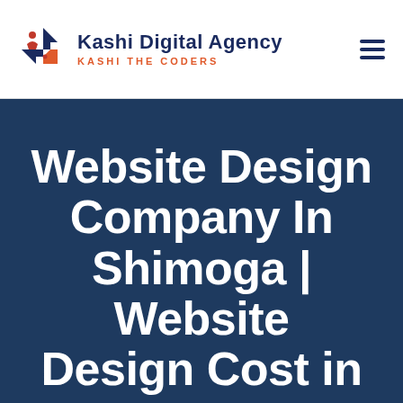[Figure (logo): Kashi Digital Agency logo with geometric star/arrow icon in red, blue, orange and a person figure, next to bold text 'Kashi Digital Agency' and subtitle 'KASHI THE CODERS']
Website Design Company In Shimoga | Website Design Cost in